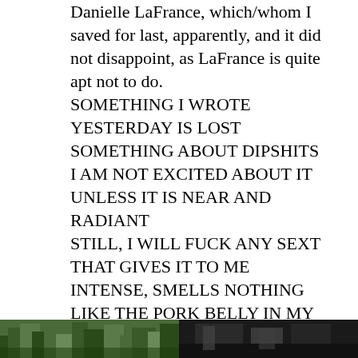Danielle LaFrance, which/whom I saved for last, apparently, and it did not disappoint, as LaFrance is quite apt not to do.
SOMETHING I WROTE YESTERDAY IS LOST
SOMETHING ABOUT DIPSHITS
I AM NOT EXCITED ABOUT IT UNLESS IT IS NEAR AND RADIANT
STILL, I WILL FUCK ANY SEXT THAT GIVES IT TO ME
INTENSE, SMELLS NOTHING LIKE THE PORK BELLY IN MY BOARISH BELLY
IT IS IN THERE, SOMEWHERE (85)
There's a lot of shouting but frankly we all deserve to be shouted at right now and not just because of right now.
[Figure (photo): Two photos side by side at the bottom of the page: left photo shows green foliage/trees outdoors; right photo shows a dark/shadowed scene.]